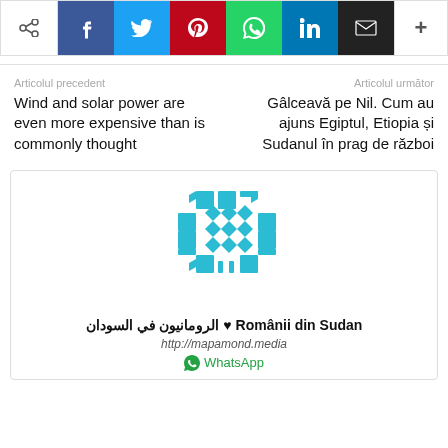[Figure (screenshot): Social media sharing buttons bar: share icon, Facebook, Twitter, Pinterest, WhatsApp, LinkedIn, Email, plus button]
Articolul precedent
Articolul următor
Wind and solar power are even more expensive than is commonly thought
Gâlceavă pe Nil. Cum au ajuns Egiptul, Etiopia și Sudanul în prag de război
[Figure (logo): Românii din Sudan logo — teal geometric/diamond pattern QR-code-like emblem]
Românii din Sudan الرومانيون في السودان
http://mapamond.media
WhatsApp